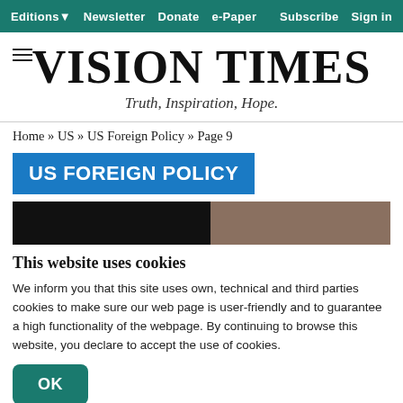Editions  Newsletter  Donate  e-Paper  Subscribe  Sign in
VISION TIMES
Truth, Inspiration, Hope.
Home » US » US Foreign Policy » Page 9
US FOREIGN POLICY
[Figure (photo): Partially obscured image with dark left portion and brownish-grey right portion]
This website uses cookies
We inform you that this site uses own, technical and third parties cookies to make sure our web page is user-friendly and to guarantee a high functionality of the webpage. By continuing to browse this website, you declare to accept the use of cookies.
OK